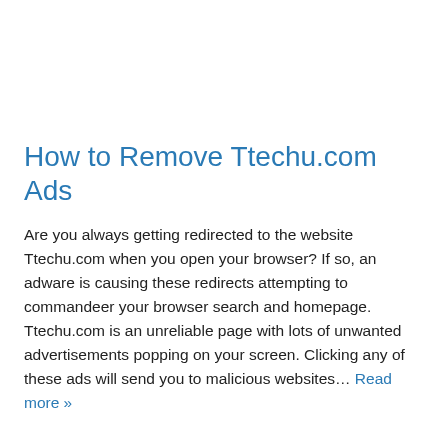How to Remove Ttechu.com Ads
Are you always getting redirected to the website Ttechu.com when you open your browser? If so, an adware is causing these redirects attempting to commandeer your browser search and homepage. Ttechu.com is an unreliable page with lots of unwanted advertisements popping on your screen. Clicking any of these ads will send you to malicious websites… Read more »